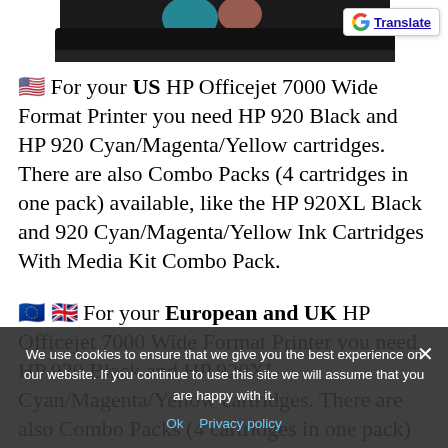[Figure (photo): Partial view of an HP printer (black, top portion visible) against a white background, cropped at top of page.]
[Figure (logo): Google Translate button with G logo and 'Translate' link in blue, in top-right corner.]
🇺🇸 For your US HP Officejet 7000 Wide Format Printer you need HP 920 Black and HP 920 Cyan/Magenta/Yellow cartridges. There are also Combo Packs (4 cartridges in one pack) available, like the HP 920XL Black and 920 Cyan/Magenta/Yellow Ink Cartridges With Media Kit Combo Pack.
🇪🇺 🇬🇧 For your European and UK HP Officejet 7000 Wide Format Printer you need HP 920 Black and HP 920XL Cyan/Magenta/Yellow cartridges. There are also Combo Packs (4 cartridges in one pack) available, like the HP 920XL 4-pack High Yield
We use cookies to ensure that we give you the best experience on our website. If you continue to use this site we will assume that you are happy with it.